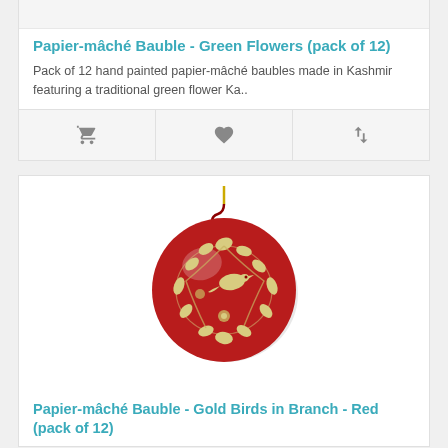[Figure (photo): Top portion of a product image card (cropped), showing bottom edge of a product image area with light background]
Papier-mâché Bauble - Green Flowers (pack of 12)
Pack of 12 hand painted papier-mâché baubles made in Kashmir featuring a traditional green flower Ka..
[Figure (photo): A red papier-mâché bauble decorated with gold birds and branch/leaf pattern, hanging from a yellow string with red hook]
Papier-mâché Bauble - Gold Birds in Branch - Red (pack of 12)